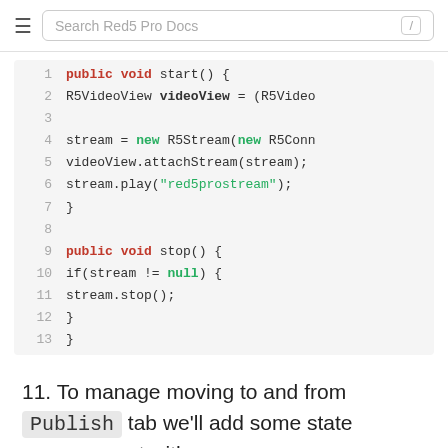Search Red5 Pro Docs
[Figure (screenshot): Code block showing Java methods start() and stop() with line numbers 1-13. start() creates R5VideoView, R5Stream with R5Connection, attaches stream, and plays 'red5prostream'. stop() checks if stream != null then calls stream.stop().]
11. To manage moving to and from Publish tab we'll add some state management with an